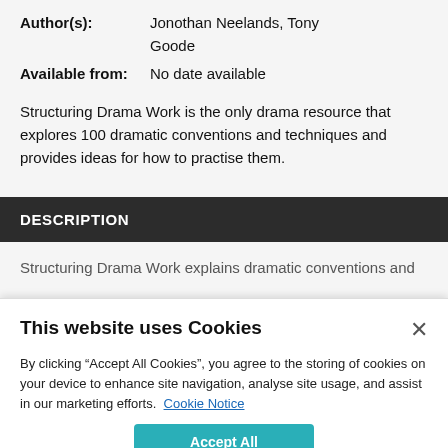Author(s): Jonothan Neelands, Tony Goode
Available from: No date available
Structuring Drama Work is the only drama resource that explores 100 dramatic conventions and techniques and provides ideas for how to practise them.
DESCRIPTION
Structuring Drama Work explains dramatic conventions and
This website uses Cookies

By clicking “Accept All Cookies”, you agree to the storing of cookies on your device to enhance site navigation, analyse site usage, and assist in our marketing efforts. Cookie Notice